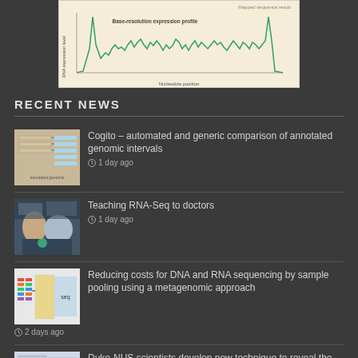[Figure (continuous-plot): Base-resolution expression profile chart showing RNA expression level vs Nucleotide position. Green line plot on beige/cream background with axis labels. Top right shows 'Mapped sequence reads'.]
RECENT NEWS
[Figure (screenshot): Thumbnail image of annotated genomic intervals diagram]
Cogito – automated and generic comparison of annotated genomic intervals
1 day ago
[Figure (photo): Thumbnail photo of scientists in lab coats working with lab equipment]
Teaching RNA-Seq to doctors
1 day ago
[Figure (illustration): Thumbnail diagram of DNA and RNA sequencing sample pooling metagenomic approach]
Reducing costs for DNA and RNA sequencing by sample pooling using a metagenomic approach
2 days ago
[Figure (illustration): Thumbnail image partially visible for Duke-NUS scientists article]
Duke-NUS scientists develop new technique to reveal the